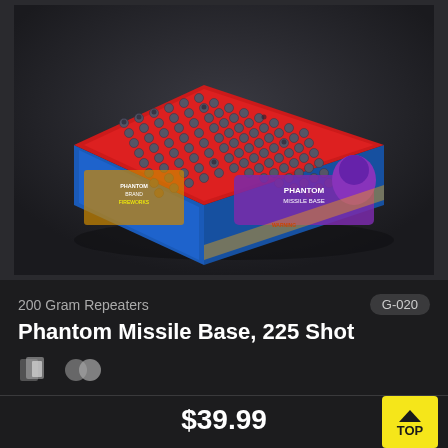[Figure (photo): Phantom Missile Base 225 Shot fireworks product box with red top showing 225 mortar tubes, blue sides with Phantom branding and a phantom mascot character]
200 Gram Repeaters
G-020
Phantom Missile Base, 225 Shot
[Figure (illustration): Small color swatch icon and double circle icon indicating product color/effect options]
$39.99